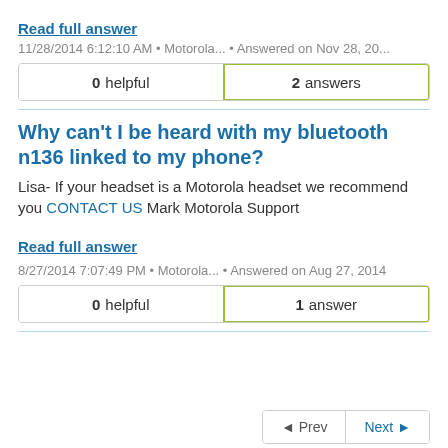Read full answer
11/28/2014 6:12:10 AM • Motorola... • Answered on Nov 28, 20...
| 0 helpful | 2 answers |
Why can't I be heard with my bluetooth n136 linked to my phone?
Lisa- If your headset is a Motorola headset we recommend you CONTACT US Mark Motorola Support
Read full answer
8/27/2014 7:07:49 PM • Motorola... • Answered on Aug 27, 2014
| 0 helpful | 1 answer |
◄ Prev   Next ►